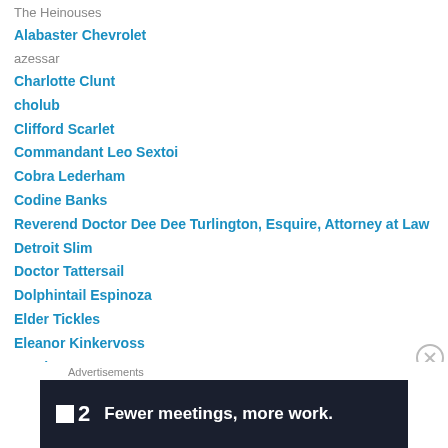The Heinouses
Alabaster Chevrolet
azessar
Charlotte Clunt
cholub
Clifford Scarlet
Commandant Leo Sextoi
Cobra Lederham
Codine Banks
Reverend Doctor Dee Dee Turlington, Esquire, Attorney at Law
Detroit Slim
Doctor Tattersail
Dolphintail Espinoza
Elder Tickles
Eleanor Kinkervoss
Stephen Rees
Felicity Jenkins
Advertisements
[Figure (other): Advertisement banner: Fewer meetings, more work. (dark background with logo '2')]